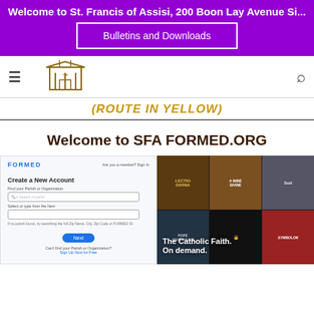Welcome to St. Francis of Assisi, 200 Boon Lay Avenue Si...
Bulletins and Downloads
[Figure (screenshot): Navigation bar with hamburger menu, church logo/illustration, and search icon]
(ROUTE IN YELLOW)
Welcome to SFA FORMED.ORG
[Figure (screenshot): Two screenshots side by side: left shows FORMED website 'Create a New Account' form; right shows FORMED.org promotional image with text 'The Catholic Faith. On demand.' and a grid of Catholic media thumbnails]